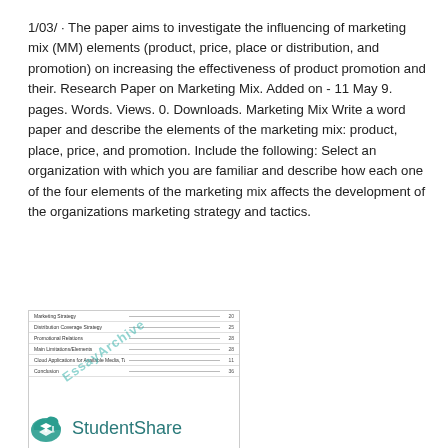1/03/ · The paper aims to investigate the influencing of marketing mix (MM) elements (product, price, place or distribution, and promotion) on increasing the effectiveness of product promotion and their. Research Paper on Marketing Mix. Added on - 11 May 9. pages. Words. Views. 0. Downloads. Marketing Mix Write a word paper and describe the elements of the marketing mix: product, place, price, and promotion. Include the following: Select an organization with which you are familiar and describe how each one of the four elements of the marketing mix affects the development of the organizations marketing strategy and tactics.
[Figure (screenshot): A table of contents or index screenshot with rows listing topics like Marketing Strategy, Distribution Coverage Strategy, Promotional Relations, Main Limitations/Elements, Cloud/Applications for Available Media Tools and Technologies, Conclusion, with an EssayArchive watermark overlay.]
[Figure (logo): StudentShare logo with a cloud icon containing a graduation cap and the text 'StudentShare' in teal.]